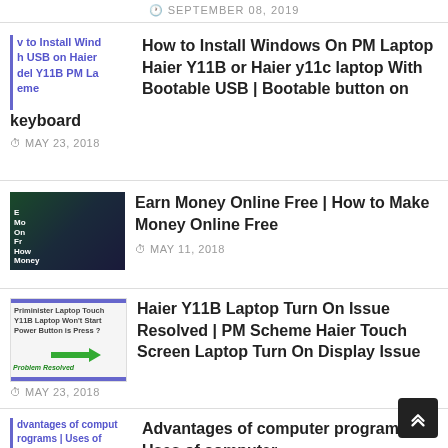SEPTEMBER 08, 2019
How to Install Windows On PM Laptop Haier Y11B or Haier y11c laptop With Bootable USB | Bootable button on keyboard
MAY 23, 2018
Earn Money Online Free | How to Make Money Online Free
MAY 11, 2018
Haier Y11B Laptop Turn On Issue Resolved | PM Scheme Haier Touch Screen Laptop Turn On Display Issue
MAY 23, 2018
Advantages of computer programs | Uses of computer programs |